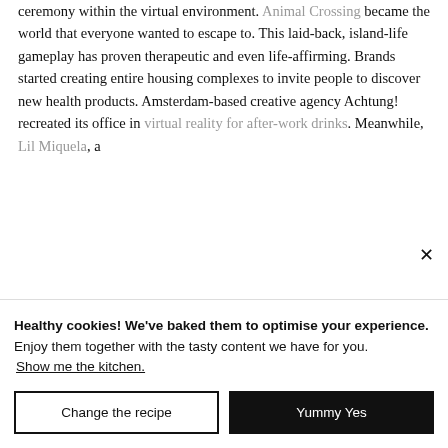ceremony within the virtual environment. Animal Crossing became the world that everyone wanted to escape to. This laid-back, island-life gameplay has proven therapeutic and even life-affirming. Brands started creating entire housing complexes to invite people to discover new health products. Amsterdam-based creative agency Achtung! recreated its office in virtual reality for after-work drinks. Meanwhile, Lil Miquela, a
Healthy cookies! We've baked them to optimise your experience.
Enjoy them together with the tasty content we have for you.
Show me the kitchen.
Change the recipe
Yummy Yes